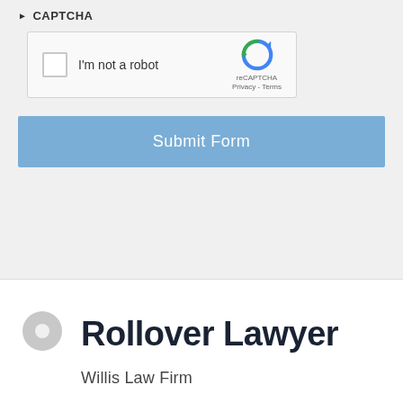CAPTCHA
[Figure (other): reCAPTCHA widget with checkbox labeled 'I'm not a robot' and Google reCAPTCHA logo with Privacy and Terms links]
Submit Form
Rollover Lawyer
Willis Law Firm